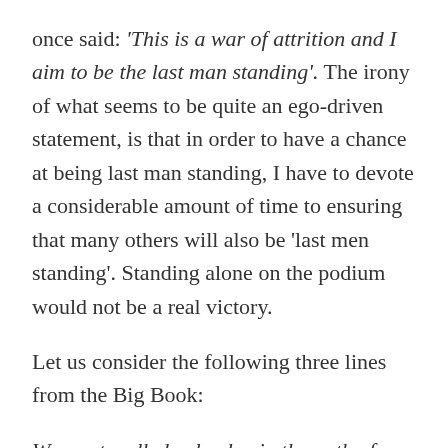once said: 'This is a war of attrition and I aim to be the last man standing'. The irony of what seems to be quite an ego-driven statement, is that in order to have a chance at being last man standing, I have to devote a considerable amount of time to ensuring that many others will also be 'last men standing'. Standing alone on the podium would not be a real victory.
Let us consider the following three lines from the Big Book:
We must walk day by day in the path of spiritual progress.